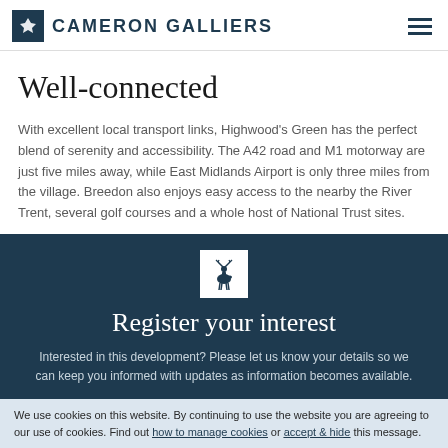CAMERON GALLIERS
Well-connected
With excellent local transport links, Highwood’s Green has the perfect blend of serenity and accessibility. The A42 road and M1 motorway are just five miles away, while East Midlands Airport is only three miles from the village. Breedon also enjoys easy access to the nearby the River Trent, several golf courses and a whole host of National Trust sites.
[Figure (logo): Cameron Galliers deer logo on dark blue background, centred in the registration section]
Register your interest
Interested in this development? Please let us know your details so we can keep you informed with updates as information becomes available.
We use cookies on this website. By continuing to use the website you are agreeing to our use of cookies. Find out how to manage cookies or accept & hide this message.